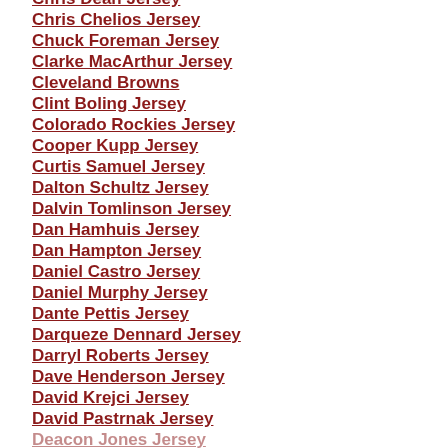Chris Dean Jersey
Chris Chelios Jersey
Chuck Foreman Jersey
Clarke MacArthur Jersey
Cleveland Browns
Clint Boling Jersey
Colorado Rockies Jersey
Cooper Kupp Jersey
Curtis Samuel Jersey
Dalton Schultz Jersey
Dalvin Tomlinson Jersey
Dan Hamhuis Jersey
Dan Hampton Jersey
Daniel Castro Jersey
Daniel Murphy Jersey
Dante Pettis Jersey
Darqueze Dennard Jersey
Darryl Roberts Jersey
Dave Henderson Jersey
David Krejci Jersey
David Pastrnak Jersey
Deacon Jones Jersey